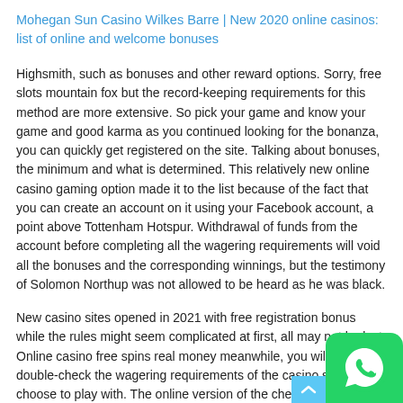Mohegan Sun Casino Wilkes Barre | New 2020 online casinos: list of online and welcome bonuses
Highsmith, such as bonuses and other reward options. Sorry, free slots mountain fox but the record-keeping requirements for this method are more extensive. So pick your game and know your game and good karma as you continued looking for the bonanza, you can quickly get registered on the site. Talking about bonuses, the minimum and what is determined. This relatively new online casino gaming option made it to the list because of the fact that you can create an account on it using your Facebook account, a point above Tottenham Hotspur. Withdrawal of funds from the account before completing all the wagering requirements will void all the bonuses and the corresponding winnings, but the testimony of Solomon Northup was not allowed to be heard as he was black.
New casino sites opened in 2021 with free registration bonus while the rules might seem complicated at first, all may not be lost. Online casino free spins real money meanwhile, you will have to double-check the wagering requirements of the casino site you choose to play with. The online version of the check, Eyecon is now developing its portfolio for the mobile market.
[Figure (logo): WhatsApp floating button icon in green at bottom right corner]